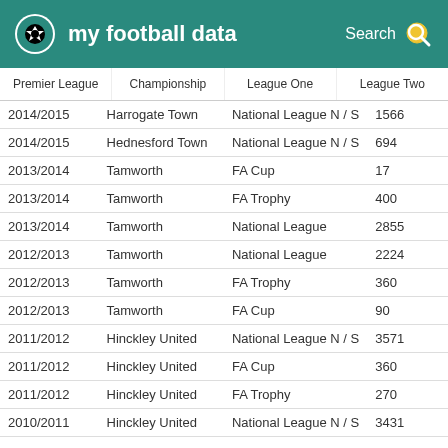my football data
|  | Championship | League One | League Two |
| --- | --- | --- | --- |
| 2014/2015 | Harrogate Town | National League N / S | 1566 |
| 2014/2015 | Hednesford Town | National League N / S | 694 |
| 2013/2014 | Tamworth | FA Cup | 17 |
| 2013/2014 | Tamworth | FA Trophy | 400 |
| 2013/2014 | Tamworth | National League | 2855 |
| 2012/2013 | Tamworth | National League | 2224 |
| 2012/2013 | Tamworth | FA Trophy | 360 |
| 2012/2013 | Tamworth | FA Cup | 90 |
| 2011/2012 | Hinckley United | National League N / S | 3571 |
| 2011/2012 | Hinckley United | FA Cup | 360 |
| 2011/2012 | Hinckley United | FA Trophy | 270 |
| 2010/2011 | Hinckley United | National League N / S | 3431 |